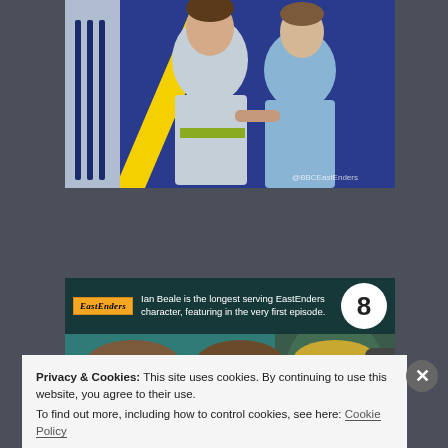[Figure (photo): Top portion: screenshot of a BBC EastEnders promotional/social media image showing two people facing each other, one holding a belt. Blue and yellow graphic elements visible at left. @BBCEastEnders watermark visible at bottom right of image.]
[Figure (photo): EastEnders fact card showing four photos of Ian Beale character at different ages. Card reads 'Ian Beale is the longest serving EastEnders character, featuring in the very first episode.' Number 8 in white circle at top right. EastEnders logo at top left on dark overlay.]
Privacy & Cookies: This site uses cookies. By continuing to use this website, you agree to their use.
To find out more, including how to control cookies, see here: Cookie Policy
Close and accept